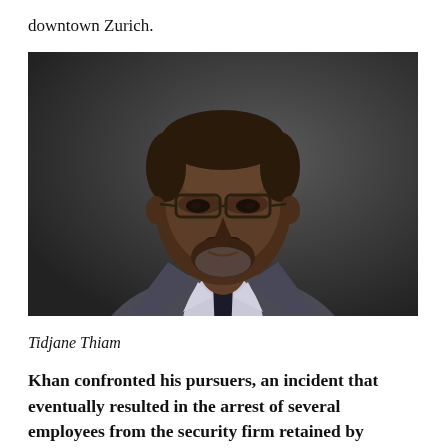downtown Zurich.
[Figure (photo): Portrait photograph of Tidjane Thiam, a Black man wearing glasses, a grey suit, and a dark tie, against a dark grey background.]
Tidjane Thiam
Khan confronted his pursuers, an incident that eventually resulted in the arrest of several employees from the security firm retained by